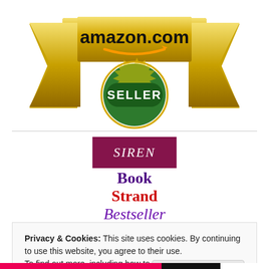[Figure (logo): Amazon.com Best Seller gold badge/ribbon with orange smile arrow and green 'SELLER' text on gear/seal]
[Figure (logo): Siren BookStrand Bestseller logo: dark red rectangle with italic white SIREN text, purple 'Book', red 'Strand', italic purple 'Bestseller']
Privacy & Cookies: This site uses cookies. By continuing to use this website, you agree to their use.
To find out more, including how to control cookies, see here: Cookie Policy
Close and accept